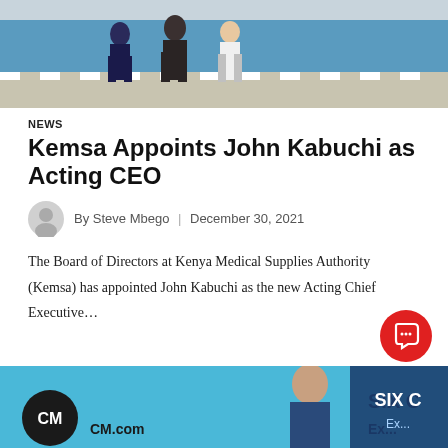[Figure (photo): Two men in suits walking outdoors on a paved area with a blue wall in the background]
NEWS
Kemsa Appoints John Kabuchi as Acting CEO
By Steve Mbego  |  December 30, 2021
The Board of Directors at Kenya Medical Supplies Authority (Kemsa) has appointed John Kabuchi as the new Acting Chief Executive...
[Figure (photo): Advertisement banner with CM logo and a woman in a suit, partially visible text 'SIX C' and 'CM.com']